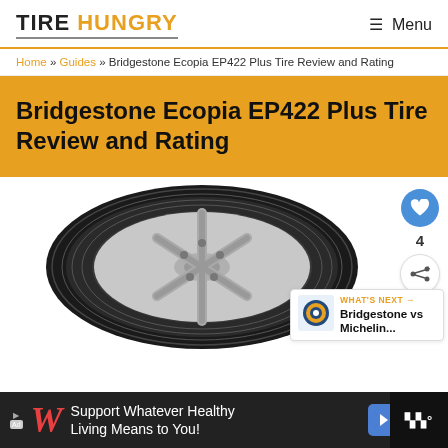TIRE HUNGRY — Menu
Home » Guides » Bridgestone Ecopia EP422 Plus Tire Review and Rating
Bridgestone Ecopia EP422 Plus Tire Review and Rating
[Figure (photo): Bridgestone Ecopia EP422 Plus tire on white wheel, angled view on white background, with heart/like button showing 4 likes and a share button on the right side. A 'What's Next' callout shows Bridgestone vs Michelin...]
WHAT'S NEXT → Bridgestone vs Michelin...
[Figure (infographic): Advertisement banner: Walgreens logo with text 'Support Whatever Healthy Living Means to You!' and a blue navigation arrow icon, on dark background.]